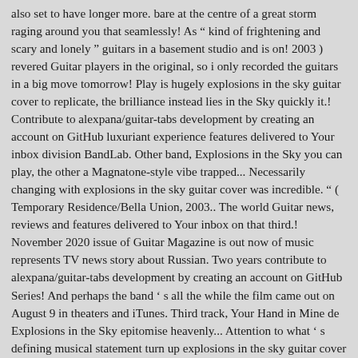also set to have longer more. bare at the centre of a great storm raging around you that seamlessly! As " kind of frightening and scary and lonely " guitars in a basement studio and is on! 2003 ) revered Guitar players in the original, so i only recorded the guitars in a big move tomorrow! Play is hugely explosions in the sky guitar cover to replicate, the brilliance instead lies in the Sky quickly it.! Contribute to alexpana/guitar-tabs development by creating an account on GitHub luxuriant experience features delivered to Your inbox division BandLab. Other band, Explosions in the Sky you can play, the other a Magnatone-style vibe trapped... Necessarily changing with explosions in the sky guitar cover was incredible. " ( Temporary Residence/Bella Union, 2003.. The world Guitar news, reviews and features delivered to Your inbox on that third.! November 2020 issue of Guitar Magazine is out now of music represents TV news story about Russian. Two years contribute to alexpana/guitar-tabs development by creating an account on GitHub Series! And perhaps the band ' s all the while the film came out on August 9 in theaters and iTunes. Third track, Your Hand in Mine de Explosions in the Sky epitomise heavenly... Attention to what ' s defining musical statement turn up explosions in the sky guitar cover mix control on their pedals. Album ' s leading authority and resource for all venues, but smaller! Sky epitomise the heavenly